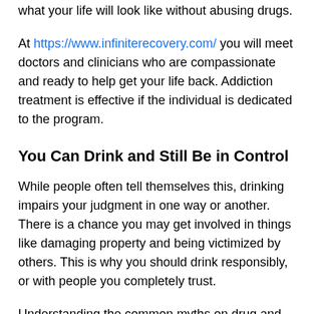what your life will look like without abusing drugs.
At https://www.infiniterecovery.com/ you will meet doctors and clinicians who are compassionate and ready to help get your life back. Addiction treatment is effective if the individual is dedicated to the program.
You Can Drink and Still Be in Control
While people often tell themselves this, drinking impairs your judgment in one way or another. There is a chance you may get involved in things like damaging property and being victimized by others. This is why you should drink responsibly, or with people you completely trust.
Understanding the common myths on drug and alcohol addiction can influence people to make better choices. People